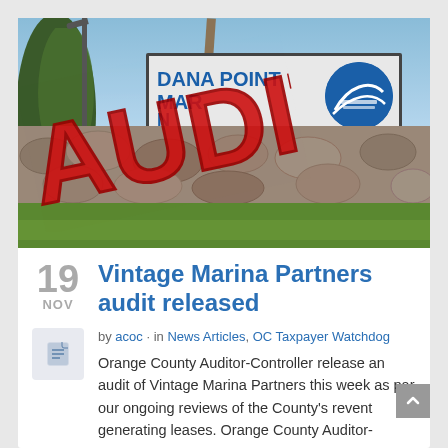[Figure (photo): Photo of Dana Point Marina sign with a large red 'AUDITED' stamp overlaid diagonally across it. The sign reads 'DANA POINT MARINA' with a circular marina logo. Stone rock wall below the sign, trees and blue sky in background.]
Vintage Marina Partners audit released
by acoc · in News Articles, OC Taxpayer Watchdog
Orange County Auditor-Controller release an audit of Vintage Marina Partners this week as par our ongoing reviews of the County's revent generating leases. Orange County Auditor-